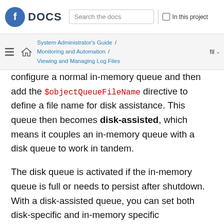DOCS | Search the docs | In this project
System Administrator's Guide / Monitoring and Automation / Viewing and Managing Log Files | fil
configure a normal in-memory queue and then add the $objectQueueFileName directive to define a file name for disk assistance. This queue then becomes disk-assisted, which means it couples an in-memory queue with a disk queue to work in tandem.
The disk queue is activated if the in-memory queue is full or needs to persist after shutdown. With a disk-assisted queue, you can set both disk-specific and in-memory specific configuration parameters. This type of queue is probably the most commonly used, it is especially useful for potentially long-